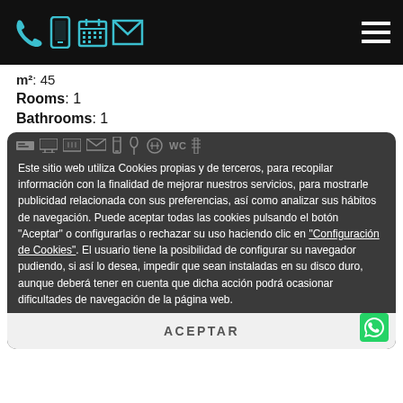[Figure (screenshot): Black navigation bar with teal phone, mobile, calendar, and envelope icons on the left, and a hamburger menu icon on the right]
m²: 45
Rooms: 1
Bathrooms: 1
Este sitio web utiliza Cookies propias y de terceros, para recopilar información con la finalidad de mejorar nuestros servicios, para mostrarle publicidad relacionada con sus preferencias, así como analizar sus hábitos de navegación. Puede aceptar todas las cookies pulsando el botón "Aceptar" o configurarlas o rechazar su uso haciendo clic en "Configuración de Cookies". El usuario tiene la posibilidad de configurar su navegador pudiendo, si así lo desea, impedir que sean instaladas en su disco duro, aunque deberá tener en cuenta que dicha acción podrá ocasionar dificultades de navegación de la página web.
ACEPTAR